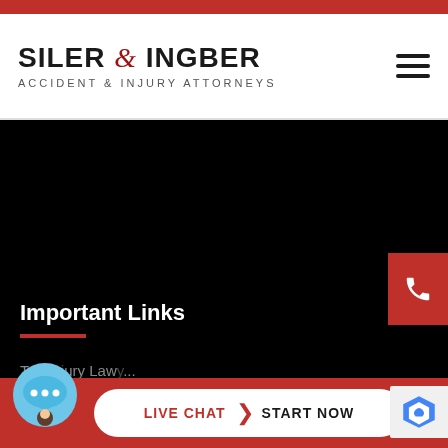SILER & INGBER ACCIDENT & INJURY ATTORNEYS
[Figure (screenshot): Dark/black hero section of law firm website]
Important Links
Top Injury Lawyers
[Figure (infographic): Live chat button with chat bubble icon - LIVE CHAT | START NOW]